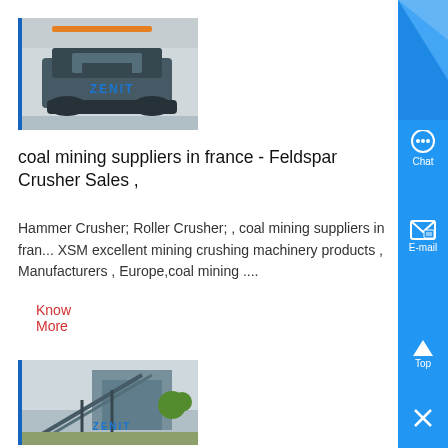[Figure (photo): Industrial mining crusher machine (ZENIT brand) inside a warehouse facility]
coal mining suppliers in france - Feldspar Crusher Sales ,
Hammer Crusher; Roller Crusher; , coal mining suppliers in france XSM excellent mining crushing machinery products , Manufacturers , Europe,coal mining ....
Know More
[Figure (photo): Industrial mining conveyor belt structure (ZENIT brand) outdoors]